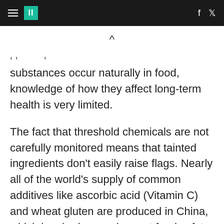HuffPost navigation header with hamburger menu, logo, Facebook and Twitter icons
substances occur naturally in food, knowledge of how they affect long-term health is very limited.
The fact that threshold chemicals are not carefully monitored means that tainted ingredients don't easily raise flags. Nearly all of the world's supply of common additives like ascorbic acid (Vitamin C) and wheat gluten are produced in China, which has had several recent food safety scares. Imports are regularly found to contain excessive or unexpected toxins, yet the rarity of testing means most goods pass through